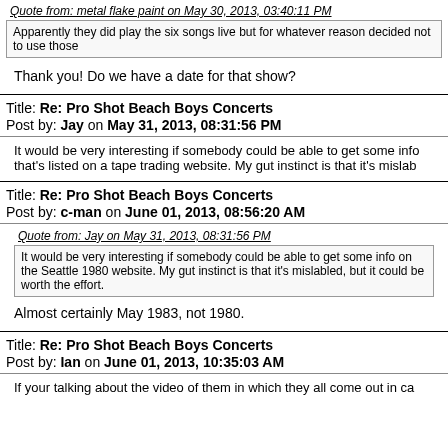Quote from: metal flake paint on May 30, 2013, 03:40:11 PM
Apparently they did play the six songs live but for whatever reason decided not to use those
Thank you! Do we have a date for that show?
Title: Re: Pro Shot Beach Boys Concerts
Post by: Jay on May 31, 2013, 08:31:56 PM
It would be very interesting if somebody could be able to get some info that's listed on a tape trading website. My gut instinct is that it's mislab
Title: Re: Pro Shot Beach Boys Concerts
Post by: c-man on June 01, 2013, 08:56:20 AM
Quote from: Jay on May 31, 2013, 08:31:56 PM
It would be very interesting if somebody could be able to get some info on the Seattle 1980 website. My gut instinct is that it's mislabled, but it could be worth the effort.
Almost certainly May 1983, not 1980.
Title: Re: Pro Shot Beach Boys Concerts
Post by: Ian on June 01, 2013, 10:35:03 AM
If your talking about the video of them in which they all come out in ca